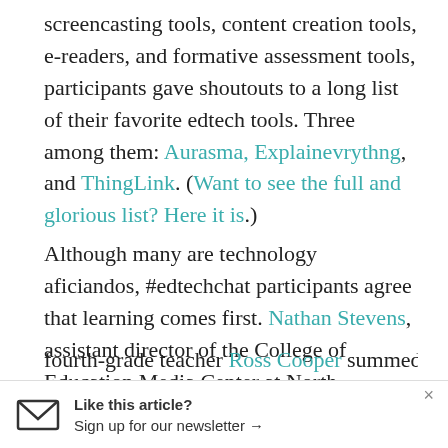screencasting tools, content creation tools, e-readers, and formative assessment tools, participants gave shoutouts to a long list of their favorite edtech tools. Three among them: Aurasma, Explainevrythng, and ThingLink. (Want to see the full and glorious list? Here it is.)
Although many are technology aficiandos, #edtechchat participants agree that learning comes first. Nathan Stevens, assistant director of the College of Education Media Center at North Carolina State University and an expert on #Glittersnark, believes “technology is the equalizer for any student.” East Penn School District (in Pennsylvania) fourth-grade teacher Ross Cooper summed up how...
Like this article? Sign up for our newsletter →